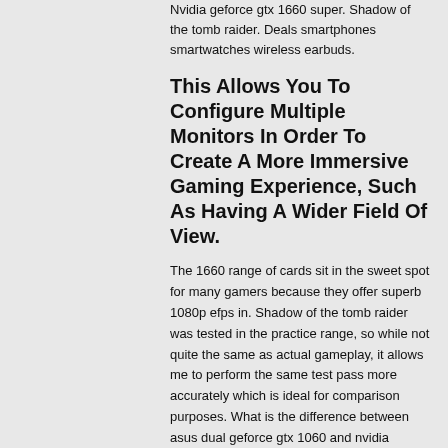Nvidia geforce gtx 1660 super. Shadow of the tomb raider. Deals smartphones smartwatches wireless earbuds.
This Allows You To Configure Multiple Monitors In Order To Create A More Immersive Gaming Experience, Such As Having A Wider Field Of View.
The 1660 range of cards sit in the sweet spot for many gamers because they offer superb 1080p efps in. Shadow of the tomb raider was tested in the practice range, so while not quite the same as actual gameplay, it allows me to perform the same test pass more accurately which is ideal for comparison purposes. What is the difference between asus dual geforce gtx 1060 and nvidia geforce gtx 1660 super?
For Gaming, The Geforce Gtx 1660 Super Graphics Card...